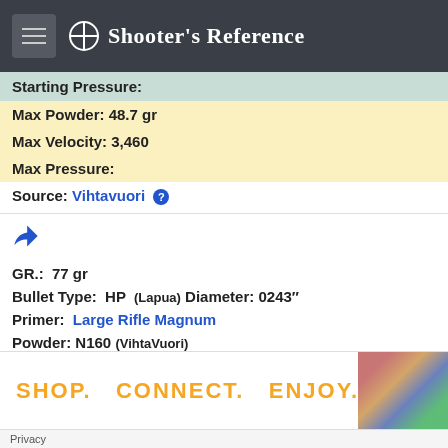Shooter's Reference
Starting Pressure:
Max Powder: 48.7 gr
Max Velocity: 3,460
Max Pressure:
Source: Vihtavuori
GR.: 77 gr
Bullet Type: HP (Lapua) Diameter: 0243"
Primer: Large Rifle Magnum
Powder: N160 (VihtaVuori)
Case: Norma Precision AB
Trim Length: 2.488"
SHOP.  CONNECT.  ENJOY.
Privacy